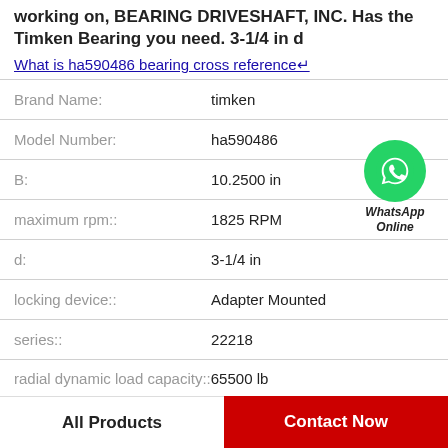working on, BEARING DRIVESHAFT, INC. Has the Timken Bearing you need. 3-1/4 in d
What is ha590486 bearing cross reference↵
| Property | Value |
| --- | --- |
| Brand Name: | timken |
| Model Number: | ha590486 |
| B: | 10.2500 in |
| maximum rpm:: | 1825 RPM |
| d: | 3-1/4 in |
| locking device:: | Adapter Mounted |
| series:: | 22218 |
| radial dynamic load capacity:: | 65500 lb |
[Figure (logo): WhatsApp Online green circle icon with phone symbol and text 'WhatsApp Online']
All Products
Contact Now